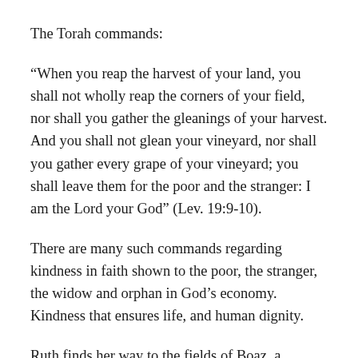The Torah commands:
“When you reap the harvest of your land, you shall not wholly reap the corners of your field, nor shall you gather the gleanings of your harvest. And you shall not glean your vineyard, nor shall you gather every grape of your vineyard; you shall leave them for the poor and the stranger: I am the Lord your God” (Lev. 19:9-10).
There are many such commands regarding kindness in faith shown to the poor, the stranger, the widow and orphan in God’s economy. Kindness that ensures life, and human dignity.
Ruth finds her way to the fields of Boaz, a kinsman